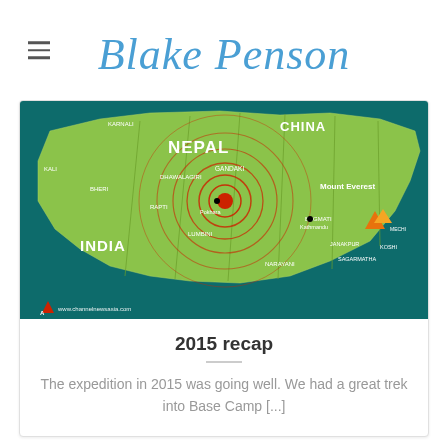Blake Penson
[Figure (map): Map of Nepal showing earthquake epicenter with concentric rings centered near Pokhara/Gandaki region. Countries labeled: China (north), India (south), Nepal. Regions labeled: Kali, Karnali, Bheri, Dhawalagiri, Gandaki, Rapti, Lumbini, Narayani, Bagmati with Kathmandu marked, Janakpur, Sagarmatha, Koshi, Mechi. Mount Everest labeled with mountain icon. Source: www.channelnewsasia.com]
2015 recap
The expedition in 2015 was going well. We had a great trek into Base Camp [...]